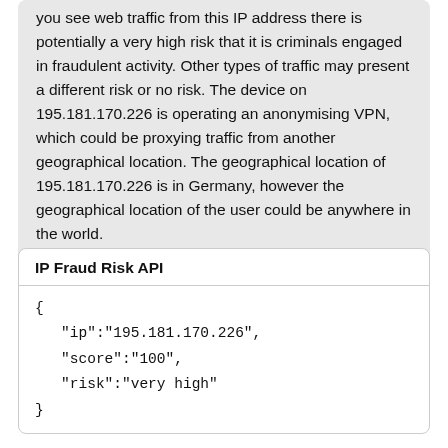you see web traffic from this IP address there is potentially a very high risk that it is criminals engaged in fraudulent activity. Other types of traffic may present a different risk or no risk. The device on 195.181.170.226 is operating an anonymising VPN, which could be proxying traffic from another geographical location. The geographical location of 195.181.170.226 is in Germany, however the geographical location of the user could be anywhere in the world.
IP Fraud Risk API
{
   "ip":"195.181.170.226",
   "score":"100",
   "risk":"very high"
}